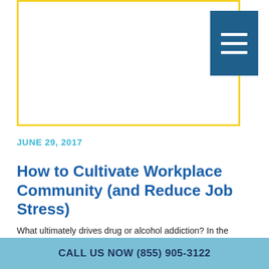[Figure (other): Yellow-bordered white box (header/logo area) with a dark blue hamburger menu icon button in the top-right corner]
JUNE 29, 2017
How to Cultivate Workplace Community (and Reduce Job Stress)
What ultimately drives drug or alcohol addiction? In the 1970's, scientists at Simon Fraser University set out to answer that question, by carrying out a series of "Rat Park" experiments. What they discovered was eye-opening: rats that were placed in solitary confinement
CALL US NOW (855) 905-3122